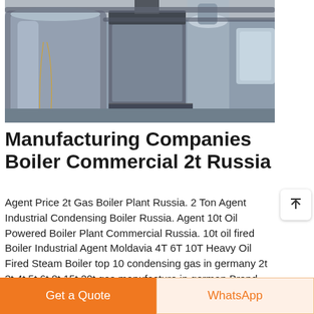[Figure (photo): Industrial boiler room interior showing large cylindrical steel boilers, metal pipes, ductwork, platforms and equipment inside a commercial facility]
Manufacturing Companies Boiler Commercial 2t Russia
Agent Price 2t Gas Boiler Plant Russia. 2 Ton Agent Industrial Condensing Boiler Russia. Agent 10t Oil Powered Boiler Plant Commercial Russia. 10t oil fired Boiler Industrial Agent Moldavia 4T 6T 10T Heavy Oil Fired Steam Boiler top 10 condensing gas in germany 2t 3t 4t 5t 6t 8t 15t 20t gas manufacture in german Brand new gas fuel condensing steam Read More...